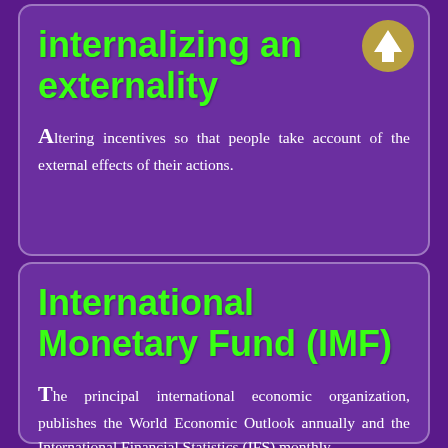internalizing an externality
Altering incentives so that people take account of the external effects of their actions.
International Monetary Fund (IMF)
The principal international economic organization, publishes the World Economic Outlook annually and the International Financial Statistics (IFS) monthly.